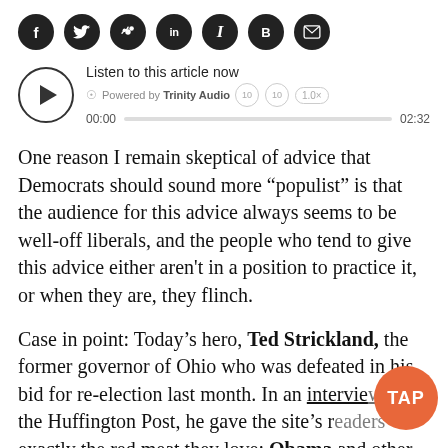[Figure (other): Row of social media sharing icon buttons: Facebook, Twitter, Reddit, LinkedIn, Instapaper, Blogger, Email — each as a dark circle with white icon symbol]
[Figure (other): Audio player widget: play button circle, 'Listen to this article now' label, 'Powered by Trinity Audio' text with globe icon, skip-back and skip-forward 10-second circle buttons, 1.0x speed pill, progress bar showing 00:00 to 02:32]
One reason I remain skeptical of advice that Democrats should sound more “populist” is that the audience for this advice always seems to be well-off liberals, and the people who tend to give this advice either aren't in a position to practice it, or when they are, they flinch.
Case in point: Today’s hero, Ted Strickland, the former governor of Ohio who was defeated in his bid for re-election last month. In an interview with the Huffington Post, he gave the site’s readers exactly the red meat they love: Obama and other